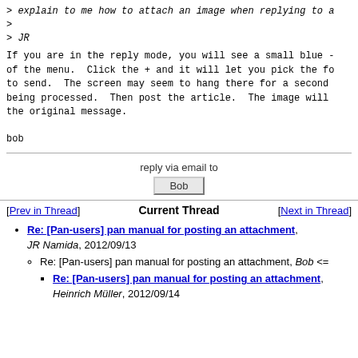> explain to me how to attach an image when replying to a
>
> JR
If you are in the reply mode, you will see a small blue + of the menu. Click the + and it will let you pick the fo to send. The screen may seem to hang there for a second being processed. Then post the article. The image will the original message.
bob
reply via email to
Bob
[Prev in Thread]    Current Thread    [Next in Thread]
Re: [Pan-users] pan manual for posting an attachment, JR Namida, 2012/09/13
Re: [Pan-users] pan manual for posting an attachment, Bob <=
Re: [Pan-users] pan manual for posting an attachment, Heinrich Müller, 2012/09/14